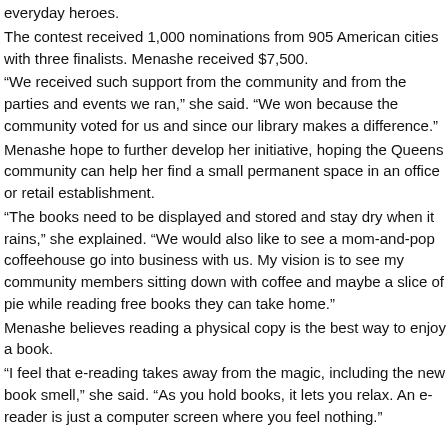everyday heroes.
The contest received 1,000 nominations from 905 American cities with three finalists. Menashe received $7,500.
“We received such support from the community and from the parties and events we ran,” she said. “We won because the community voted for us and since our library makes a difference.”
Menashe hope to further develop her initiative, hoping the Queens community can help her find a small permanent space in an office or retail establishment.
“The books need to be displayed and stored and stay dry when it rains,” she explained. “We would also like to see a mom-and-pop coffeehouse go into business with us. My vision is to see my community members sitting down with coffee and maybe a slice of pie while reading free books they can take home.”
Menashe believes reading a physical copy is the best way to enjoy a book.
“I feel that e-reading takes away from the magic, including the new book smell,” she said. “As you hold books, it lets you relax. An e-reader is just a computer screen where you feel nothing.”